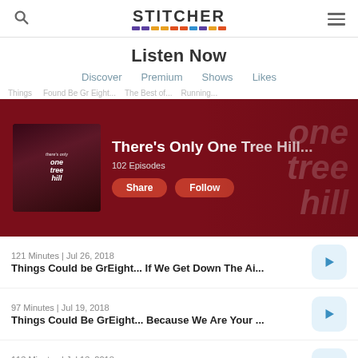Stitcher - Listen Now
Listen Now
Discover  Premium  Shows  Likes
[Figure (screenshot): Banner for podcast 'There's Only One Tree Hill...' with dark red background, show thumbnail, 102 Episodes, Share and Follow buttons]
121 Minutes | Jul 26, 2018
Things Could be GrEight... If We Get Down The Ai...
97 Minutes | Jul 19, 2018
Things Could Be GrEight... Because We Are Your ...
113 Minutes | Jul 13, 2018
Things Could Be GrEight...Because We're Thankf...